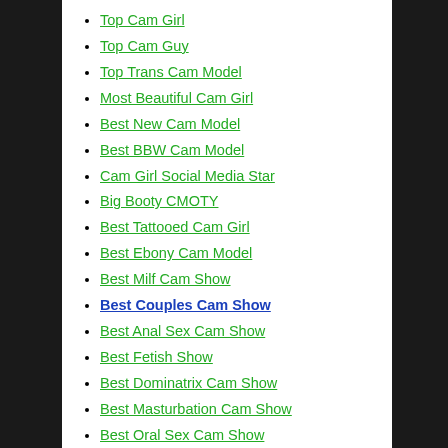Top Cam Girl
Top Cam Guy
Top Trans Cam Model
Most Beautiful Cam Girl
Best New Cam Model
Best BBW Cam Model
Cam Girl Social Media Star
Big Booty CMOTY
Best Tattooed Cam Girl
Best Ebony Cam Model
Best Milf Cam Show
Best Couples Cam Show
Best Anal Sex Cam Show
Best Fetish Show
Best Dominatrix Cam Show
Best Masturbation Cam Show
Best Oral Sex Cam Show
Best Lesbian Cam Show
New to Adult Webcam Sites? Learn how different live sex cam sites work via our adult webcam reviews.